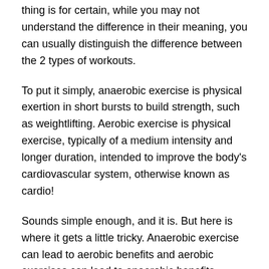thing is for certain, while you may not understand the difference in their meaning, you can usually distinguish the difference between the 2 types of workouts.
To put it simply, anaerobic exercise is physical exertion in short bursts to build strength, such as weightlifting. Aerobic exercise is physical exercise, typically of a medium intensity and longer duration, intended to improve the body's cardiovascular system, otherwise known as cardio!
Sounds simple enough, and it is. But here is where it gets a little tricky. Anaerobic exercise can lead to aerobic benefits and aerobic exercises can lead to anaerobic benefits.
Anaerobic